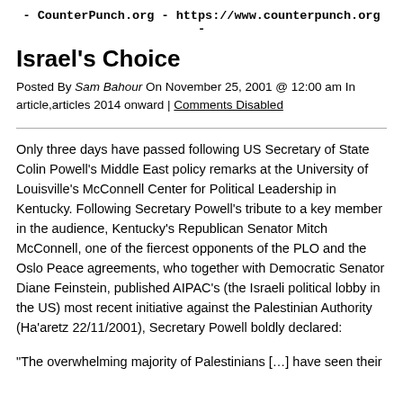- CounterPunch.org - https://www.counterpunch.org -
Israel's Choice
Posted By Sam Bahour On November 25, 2001 @ 12:00 am In article,articles 2014 onward | Comments Disabled
Only three days have passed following US Secretary of State Colin Powell's Middle East policy remarks at the University of Louisville's McConnell Center for Political Leadership in Kentucky. Following Secretary Powell's tribute to a key member in the audience, Kentucky's Republican Senator Mitch McConnell, one of the fiercest opponents of the PLO and the Oslo Peace agreements, who together with Democratic Senator Diane Feinstein, published AIPAC's (the Israeli political lobby in the US) most recent initiative against the Palestinian Authority (Ha'aretz 22/11/2001), Secretary Powell boldly declared:
“The overwhelming majority of Palestinians […] have seen their …